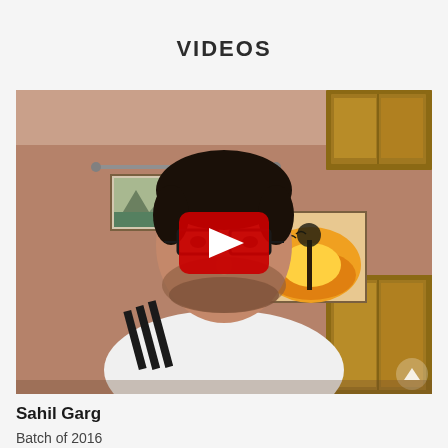VIDEOS
[Figure (screenshot): Video thumbnail showing a young man with glasses and a beard wearing a white Adidas t-shirt, sitting in a room with paintings on the wall and wooden cabinets. A red YouTube-style play button is overlaid in the center.]
Sahil Garg
Batch of 2016